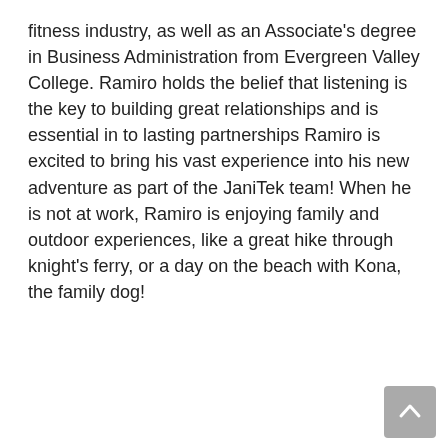fitness industry, as well as an Associate's degree in Business Administration from Evergreen Valley College. Ramiro holds the belief that listening is the key to building great relationships and is essential in to lasting partnerships Ramiro is excited to bring his vast experience into his new adventure as part of the JaniTek team! When he is not at work, Ramiro is enjoying family and outdoor experiences, like a great hike through knight's ferry, or a day on the beach with Kona, the family dog!